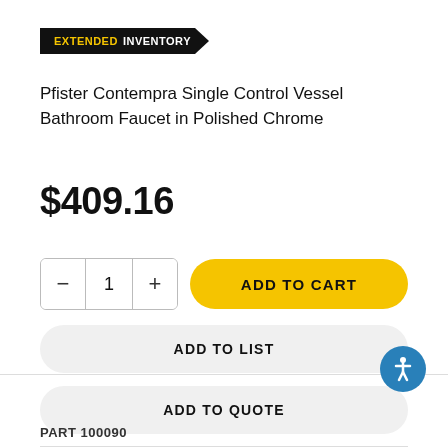EXTENDED INVENTORY
Pfister Contempra Single Control Vessel Bathroom Faucet in Polished Chrome
$409.16
ADD TO CART
ADD TO LIST
ADD TO QUOTE
PART 100090